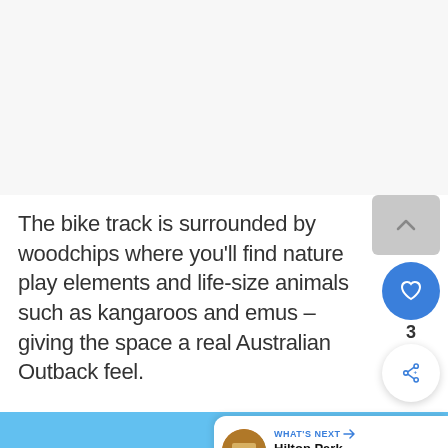[Figure (photo): Top portion of a webpage showing a light grey/white placeholder area (image not loaded or cropped out)]
The bike track is surrounded by woodchips where you'll find nature play elements and life-size animals such as kangaroos and emus – giving the space a real Australian Outback feel.
[Figure (photo): Bottom portion of image showing bright blue sky with what appears to be a metallic emu statue against the sky. A 'What's Next' navigation card overlays the bottom right showing Hilton Park, Duncraig.]